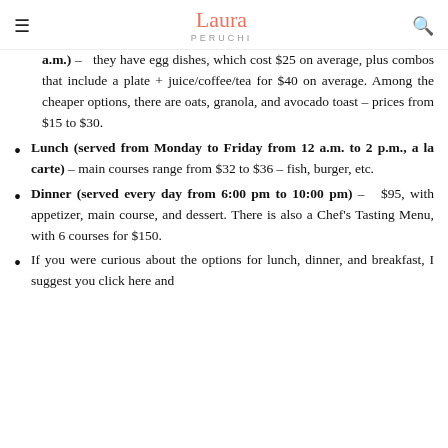Laura Peruchi
a.m.) – they have egg dishes, which cost $25 on average, plus combos that include a plate + juice/coffee/tea for $40 on average. Among the cheaper options, there are oats, granola, and avocado toast – prices from $15 to $30.
Lunch (served from Monday to Friday from 12 a.m. to 2 p.m., a la carte) – main courses range from $32 to $36 – fish, burger, etc.
Dinner (served every day from 6:00 pm to 10:00 pm) – $95, with appetizer, main course, and dessert. There is also a Chef's Tasting Menu, with 6 courses for $150.
If you were curious about the options for lunch, dinner, and breakfast, I suggest you click here and